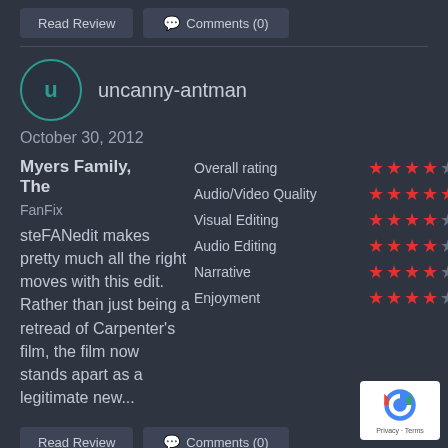Read Review
Comments (0)
uncanny-antman
October 30, 2012
Myers Family, The
FanFix
steFANedit makes pretty much all the right moves with this edit. Rather than just being a retread of Carpenter's film, the film now stands apart as a legitimate new...
| Category | Stars | Score |
| --- | --- | --- |
| Overall rating | ★★★★½ | 8.9 |
| Audio/Video Quality | ★★★★★ | 10.0 |
| Visual Editing | ★★★★½ | 9.0 |
| Audio Editing | ★★★★½ | 9.0 |
| Narrative | ★★★★☆ | 8.0 |
| Enjoyment | ★★★★½ | 9.0 |
Read Review
Comments (0)